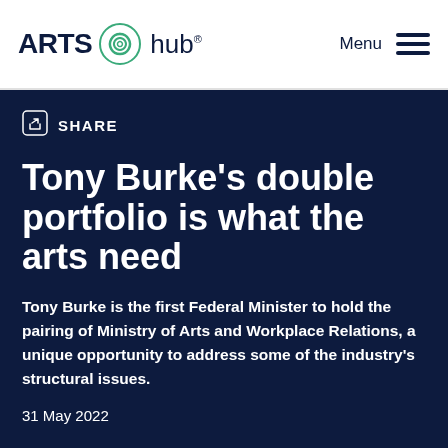ARTS hub® Menu
SHARE
Tony Burke's double portfolio is what the arts need
Tony Burke is the first Federal Minister to hold the pairing of Ministry of Arts and Workplace Relations, a unique opportunity to address some of the industry's structural issues.
31 May 2022